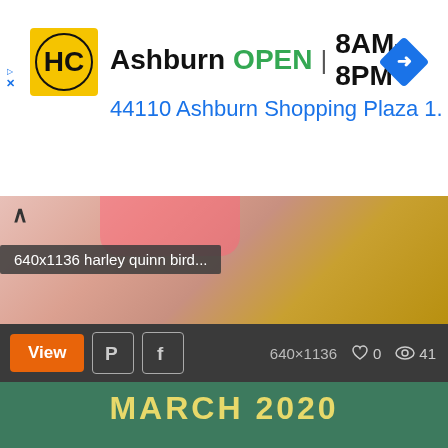[Figure (screenshot): Ad banner for Hairclub (HC) showing Ashburn location: OPEN 8AM-8PM, address 44110 Ashburn Shopping Plaza 1., with navigation icon]
[Figure (photo): Partial image showing person with pink outfit and gold/yellow background, with overlay showing filename '640x1136 harley quinn bird...' and toolbar with View, Pinterest, Facebook buttons, resolution 640x1136, 0 likes, 41 views]
[Figure (other): March 2020 calendar in teal/green background with yellow title text and day headers S M T W TH F S, showing dates 01-07]